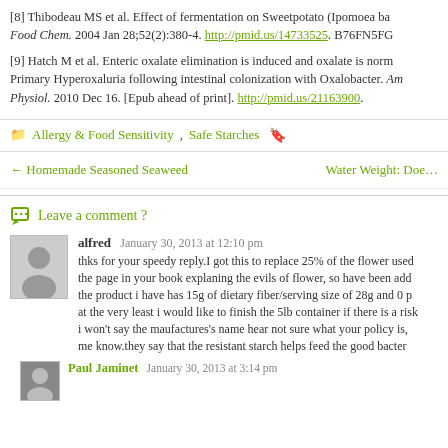[8] Thibodeau MS et al. Effect of fermentation on Sweetpotato (Ipomoea ba... Food Chem. 2004 Jan 28;52(2):380-4. http://pmid.us/14733525. B76FN5FG...
[9] Hatch M et al. Enteric oxalate elimination is induced and oxalate is norm... Primary Hyperoxaluria following intestinal colonization with Oxalobacter. Am... Physiol. 2010 Dec 16. [Epub ahead of print]. http://pmid.us/21163900.
Allergy & Food Sensitivity, Safe Starches
← Homemade Seasoned Seaweed    Water Weight: Doe...
Leave a comment ?
alfred January 30, 2013 at 12:10 pm
thks for your speedy reply.I got this to replace 25% of the flower used the page in your book explaning the evils of flower, so have been add the product i have has 15g of dietary fiber/serving size of 28g and 0 p at the very least i would like to finish the 5lb container if there is a risk i won't say the maufactures's name hear not sure what your policy is, me know.they say that the resistant starch helps feed the good bacter
Paul Jaminet January 30, 2013 at 3:14 pm